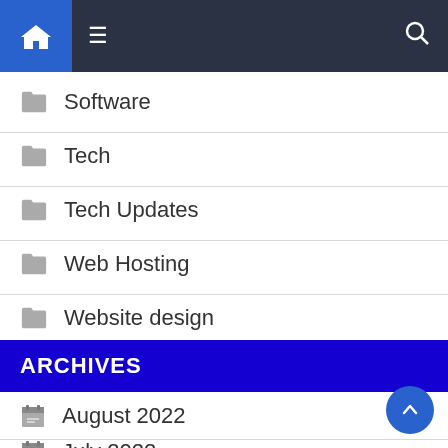Navigation bar with home icon, menu icon, and search icon
Software
Tech
Tech Updates
Web Hosting
Website design
ARCHIVES
August 2022
July 2022